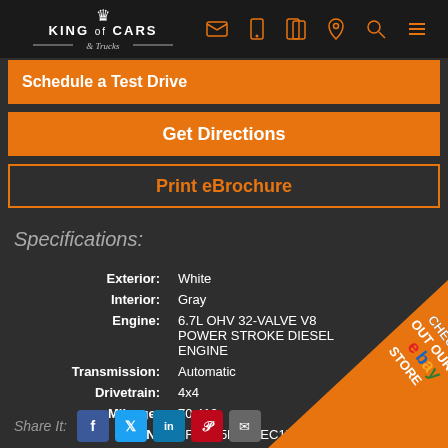King of Cars & Trucks
Schedule a Test Drive
Get Directions
Print eBrochure
Specifications:
| Label | Value |
| --- | --- |
| Exterior: | White |
| Interior: | Gray |
| Engine: | 6.7L OHV 32-VALVE V8 POWER STROKE DIESEL ENGINE |
| Transmission: | Automatic |
| Drivetrain: | 4x4 |
| Mileage: | 70,410 |
| VIN: | 1FDUF5HT5BEC17394 |
| Warranty: | AS-IS No Warranty |
Share It:
[Figure (infographic): Check Out Our eBay Store corner badge in orange triangle]